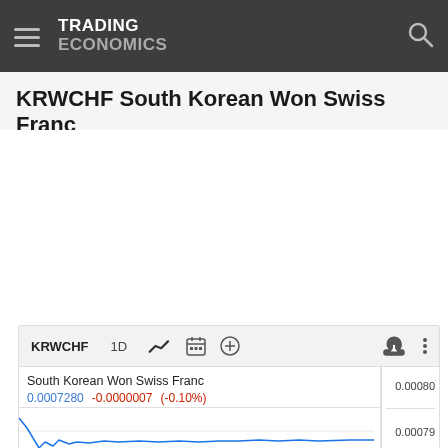TRADING ECONOMICS
KRWCHF South Korean Won Swiss Franc
[Figure (screenshot): Trading Economics KRWCHF chart widget showing South Korean Won Swiss Franc. Symbol: KRWCHF, Period: 1D. Current value: 0.0007280, Change: -0.0000007 (-0.10%). Y-axis shows 0.00080 and 0.00079. A blue line chart shows the price trend with a sharp drop on the left.]